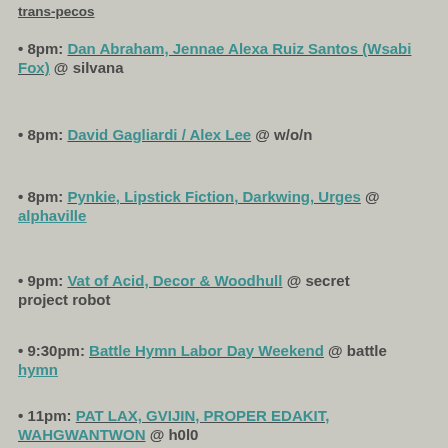• 8pm: Dan Abraham, Jennae Alexa Ruiz Santos (Wsabi Fox) @ silvana
• 8pm: David Gagliardi / Alex Lee @ w/o/n
• 8pm: Pynkie, Lipstick Fiction, Darkwing, Urges @ alphaville
• 9pm: Vat of Acid, Decor & Woodhull @ secret project robot
• 9:30pm: Battle Hymn Labor Day Weekend @ battle hymn
• 11pm: PAT LAX, GVIJIN, PROPER EDAKIT, WAHGWANTWON @ h0l0